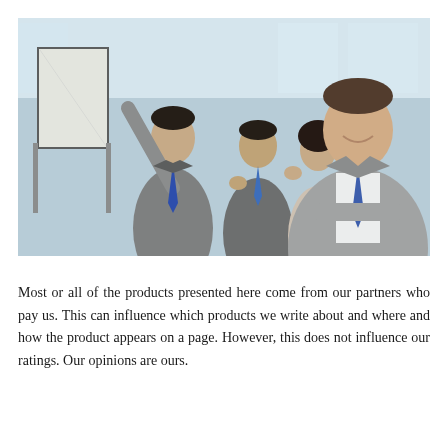[Figure (photo): Business meeting photo showing four people in business attire. A man on the left points at a whiteboard/flipchart. Two people in the middle observe. A man on the right stands in the foreground with arms crossed, smiling at the camera.]
Most or all of the products presented here come from our partners who pay us. This can influence which products we write about and where and how the product appears on a page. However, this does not influence our ratings. Our opinions are ours.